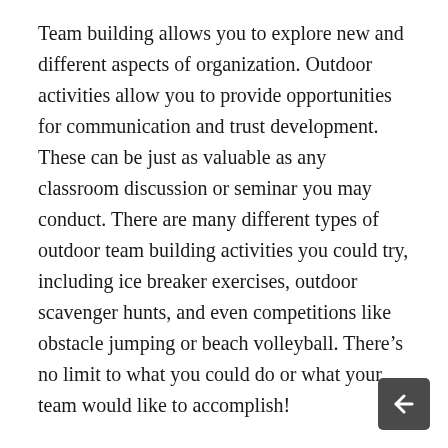Team building allows you to explore new and different aspects of organization. Outdoor activities allow you to provide opportunities for communication and trust development. These can be just as valuable as any classroom discussion or seminar you may conduct. There are many different types of outdoor team building activities you could try, including ice breaker exercises, outdoor scavenger hunts, and even competitions like obstacle jumping or beach volleyball. There's no limit to what you could do or what your team would like to accomplish!
Outdoor team building is also great because it provides a safe way for you to evaluate your entire staff. The exercises can help you develop leadership skills, trust in your employees and how your team communicates. You'll see the areas that need improvement in your